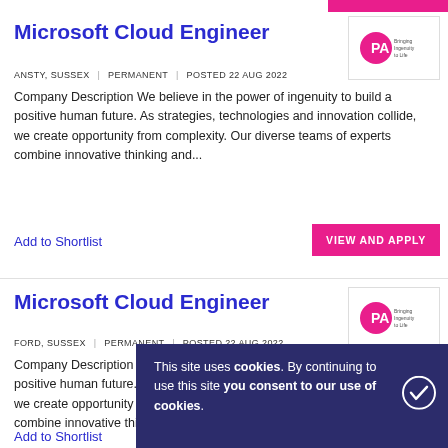Microsoft Cloud Engineer
ANSTY, SUSSEX | PERMANENT | POSTED 22 AUG 2022
Company Description We believe in the power of ingenuity to build a positive human future. As strategies, technologies and innovation collide, we create opportunity from complexity. Our diverse teams of experts combine innovative thinking and...
Add to Shortlist
VIEW AND APPLY
Microsoft Cloud Engineer
FORD, SUSSEX | PERMANENT | POSTED 22 AUG 2022
Company Description We believe in the power of ingenuity to build a positive human future. As strategies, technologies and innovation collide, we create opportunity from complexity. Our diverse teams of experts combine innovative thinking and...
Add to Shortlist
VIEW AND APPLY
This site uses cookies. By continuing to use this site you consent to our use of cookies.